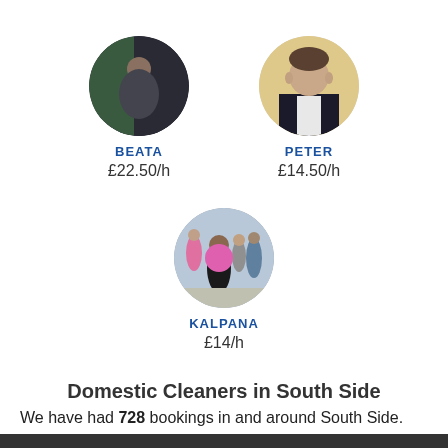[Figure (photo): Circular profile photo of Beata]
BEATA
£22.50/h
[Figure (photo): Circular profile photo of Peter]
PETER
£14.50/h
[Figure (photo): Circular profile photo of Kalpana]
KALPANA
£14/h
Domestic Cleaners in South Side
We have had 728 bookings in and around South Side.